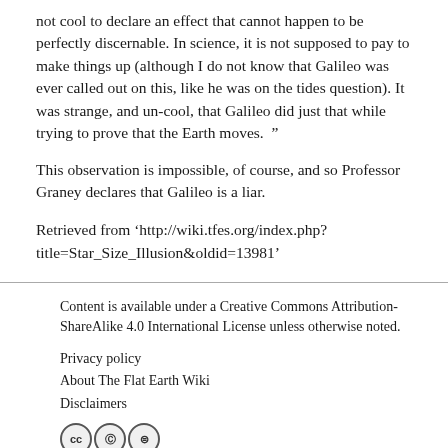not cool to declare an effect that cannot happen to be perfectly discernable. In science, it is not supposed to pay to make things up (although I do not know that Galileo was ever called out on this, like he was on the tides question). It was strange, and un-cool, that Galileo did just that while trying to prove that the Earth moves.  ”
This observation is impossible, of course, and so Professor Graney declares that Galileo is a liar.
Retrieved from ‘http://wiki.tfes.org/index.php?title=Star_Size_Illusion&oldid=13981’
Content is available under a Creative Commons Attribution-ShareAlike 4.0 International License unless otherwise noted.

Privacy policy
About The Flat Earth Wiki
Disclaimers